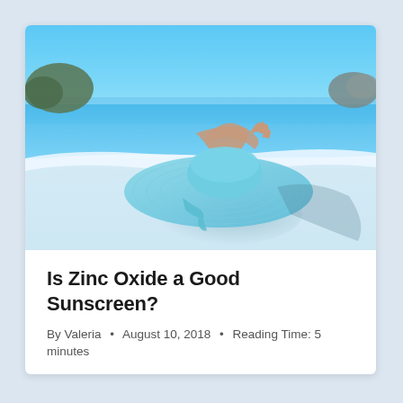[Figure (photo): Beach scene from above showing a person lying on white sand wearing a large-brimmed light blue sun hat, holding the hat with one hand. Clear blue ocean and sky in the background with rocky outcroppings on both sides.]
Is Zinc Oxide a Good Sunscreen?
By Valeria • August 10, 2018 • Reading Time: 5 minutes